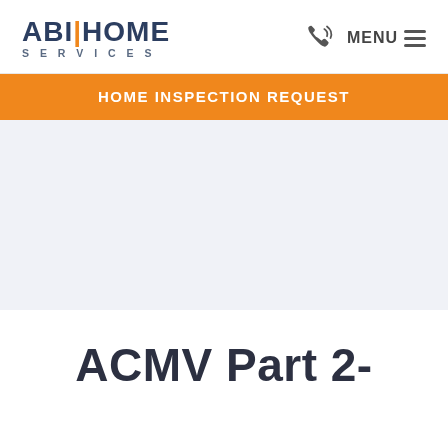[Figure (logo): ABI Home Services logo with orange pipe separator and gray text]
MENU
HOME INSPECTION REQUEST
ACMV Part 2-